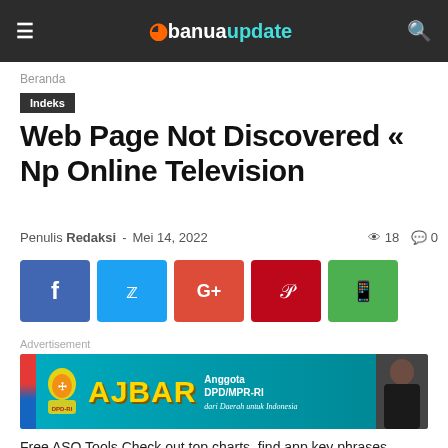banuaupdate
Beranda
Indeks
Web Page Not Discovered « Np Online Television
Penulis Redaksi - Mei 14, 2022  18  0
[Figure (other): Social share buttons: Facebook, Twitter, Google+, Pinterest, WhatsApp]
Advertisement
[Figure (photo): Advertisement banner for AJBAR - Anggota DPD/MPR-RI, dari Daerah untuk Indonesia]
Free ASO Tools Check out top charts, find app key phrases,